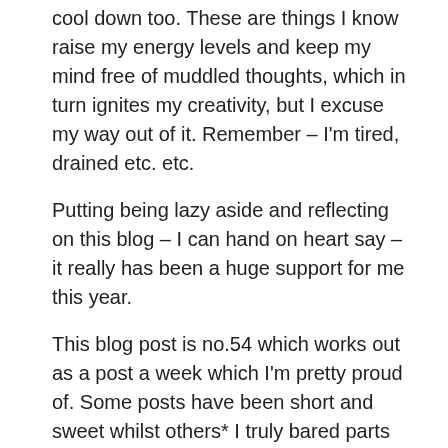cool down too. These are things I know raise my energy levels and keep my mind free of muddled thoughts, which in turn ignites my creativity, but I excuse my way out of it. Remember – I'm tired, drained etc. etc.
Putting being lazy aside and reflecting on this blog – I can hand on heart say – it really has been a huge support for me this year.
This blog post is no.54 which works out as a post a week which I'm pretty proud of. Some posts have been short and sweet whilst others* I truly bared parts of me which led to some truly amazing honest and frank conversations with friends and new readers to my blog.
*The Single Side of Me , Back to Black , The Single Side